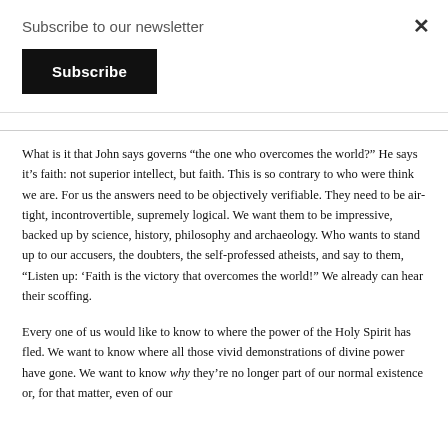Subscribe to our newsletter
Subscribe
What is it that John says governs “the one who overcomes the world?” He says it’s faith: not superior intellect, but faith. This is so contrary to who were think we are. For us the answers need to be objectively verifiable. They need to be air-tight, incontrovertible, supremely logical. We want them to be impressive, backed up by science, history, philosophy and archaeology. Who wants to stand up to our accusers, the doubters, the self-professed atheists, and say to them, “Listen up: ‘Faith is the victory that overcomes the world!” We already can hear their scoffing.
Every one of us would like to know to where the power of the Holy Spirit has fled. We want to know where all those vivid demonstrations of divine power have gone. We want to know why they’re no longer part of our normal existence or, for that matter, even of our